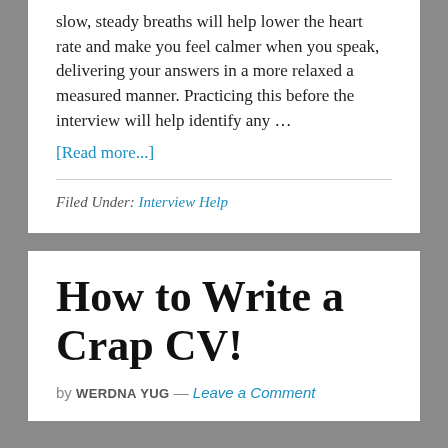slow, steady breaths will help lower the heart rate and make you feel calmer when you speak, delivering your answers in a more relaxed a measured manner. Practicing this before the interview will help identify any …
[Read more...]
Filed Under: Interview Help
How to Write a Crap CV!
by WERDNA YUG — Leave a Comment